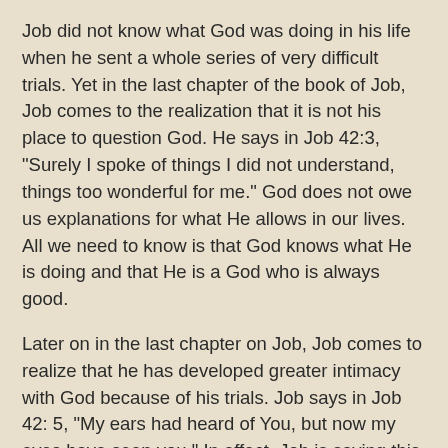Job did not know what God was doing in his life when he sent a whole series of very difficult trials.  Yet in the last chapter of the book of Job, Job comes to the realization that it is not his place to question God.  He says in Job 42:3, "Surely I spoke of things I did not understand, things too wonderful for me."   God does not owe us explanations for what He allows in our lives.  All we need to know is that God knows what He is doing and that He is a God who is always good.
Later on in the last chapter on Job, Job comes to realize that he has developed greater intimacy with God because of his trials.  Job says in Job 42: 5, "My ears had heard of You, but now my eyes have seen you."  In effect, Job is saying this, " In the past I knew things in my head about You, but now my heart knows You in an intimate way that I never experienced before.  This came about because of the trials You allowed in my life."
The same experience that Job had of growing in intimacy with God through trials can be our experience as well.  We